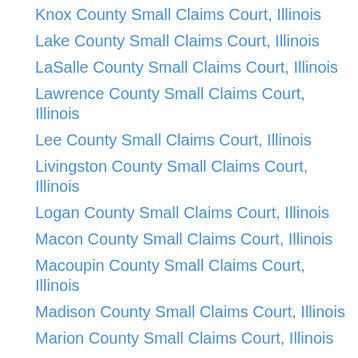Knox County Small Claims Court, Illinois
Lake County Small Claims Court, Illinois
LaSalle County Small Claims Court, Illinois
Lawrence County Small Claims Court, Illinois
Lee County Small Claims Court, Illinois
Livingston County Small Claims Court, Illinois
Logan County Small Claims Court, Illinois
Macon County Small Claims Court, Illinois
Macoupin County Small Claims Court, Illinois
Madison County Small Claims Court, Illinois
Marion County Small Claims Court, Illinois
Marshall County Small Claims Court,